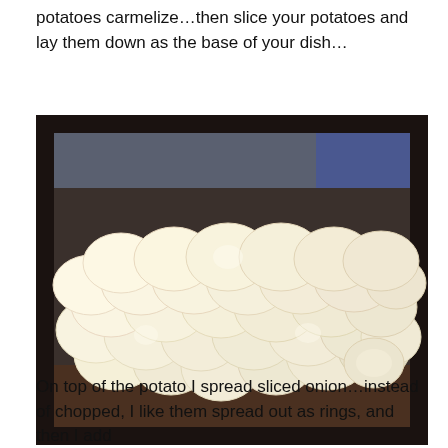potatoes carmelize…then slice your potatoes and lay them down as the base of your dish…
[Figure (photo): A dark roasting pan filled with overlapping thin slices of raw white potatoes layered as a base in the pan, viewed from above at an angle.]
On top of the potato I spread sliced onion…instead of chopped, I like them spread out as rings, and then I add